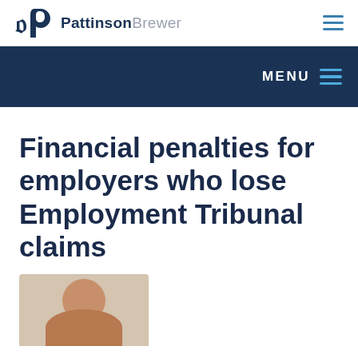PattinsonBrewer
Financial penalties for employers who lose Employment Tribunal claims
[Figure (photo): Partial headshot of a woman with brown hair at the bottom of the page]